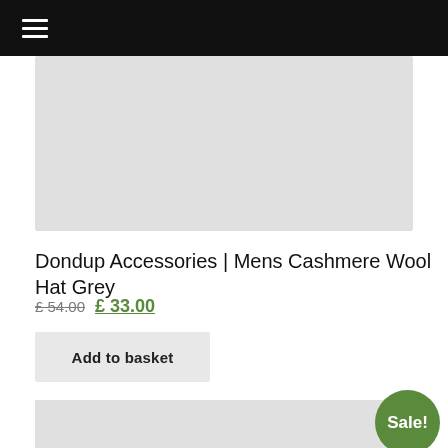☰
[Figure (photo): Product image placeholder — light grey rectangle for Dondup Cashmere Wool Hat Grey]
Dondup Accessories | Mens Cashmere Wool Hat Grey
£ 54.00  £ 33.00
Add to basket
[Figure (photo): Product image showing a dark/black knit wool hat against a light grey background, with a green Sale! badge in the bottom-right corner]